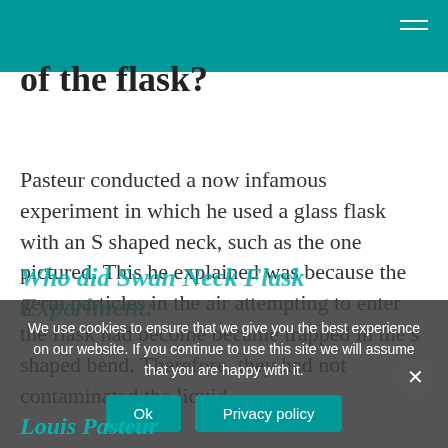of the flask?
Pasteur conducted a now infamous experiment in which he used a glass flask with an S shaped neck, such as the one pictured. This he explained was because the germ particles in the air attempting to enter the flask had become became trapped in the s shaped bend. Therefore, they had not contaminated the liquid.
Who did Swan Neck Flask Experiment:
We use cookies to ensure that we give you the best experience on our website. If you continue to use this site we will assume that you are happy with it.
Louis Pasteur